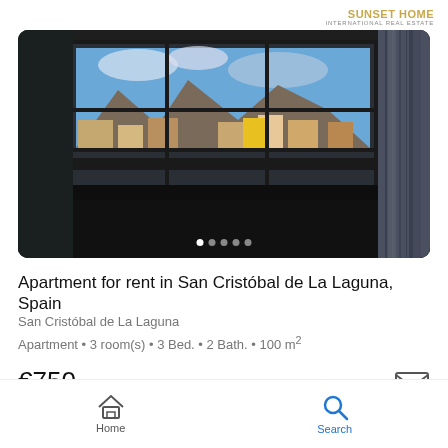[Figure (logo): Sunset Home International Real Estate logo with gold text]
[Figure (photo): Interior photo of apartment showing window with view of buildings and mountains, dark curtain on right side]
Apartment for rent in San Cristóbal de La Laguna, Spain
San Cristóbal de La Laguna
Apartment • 3 room(s) • 3 Bed. • 2 Bath. • 100 m²
€750
[Figure (other): Email/envelope icon]
Home  Search